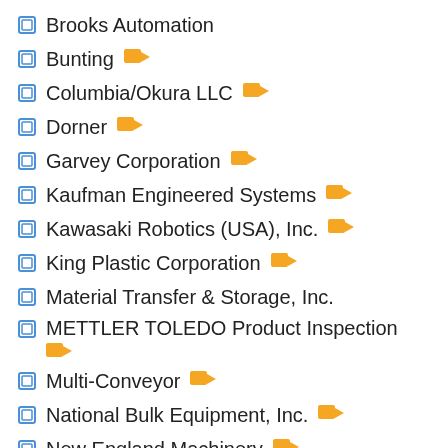Brooks Automation
Bunting
Columbia/Okura LLC
Dorner
Garvey Corporation
Kaufman Engineered Systems
Kawasaki Robotics (USA), Inc.
King Plastic Corporation
Material Transfer & Storage, Inc.
METTLER TOLEDO Product Inspection
Multi-Conveyor
National Bulk Equipment, Inc.
New England Machinery
PIAB USA Inc.